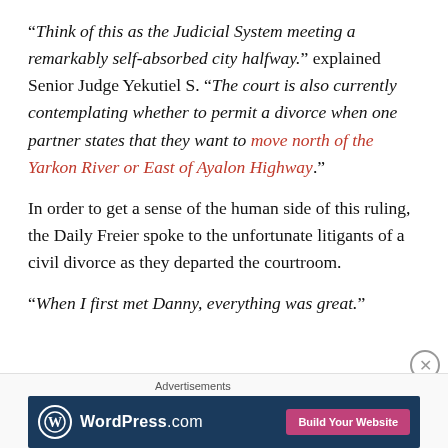“Think of this as the Judicial System meeting a remarkably self-absorbed city halfway.” explained Senior Judge Yekutiel S. “The court is also currently contemplating whether to permit a divorce when one partner states that they want to move north of the Yarkon River or East of Ayalon Highway.”
In order to get a sense of the human side of this ruling, the Daily Freier spoke to the unfortunate litigants of a civil divorce as they departed the courtroom.
“When I first met Danny, everything was great.”
[Figure (other): WordPress.com advertisement banner with logo and 'Build Your Website' button]